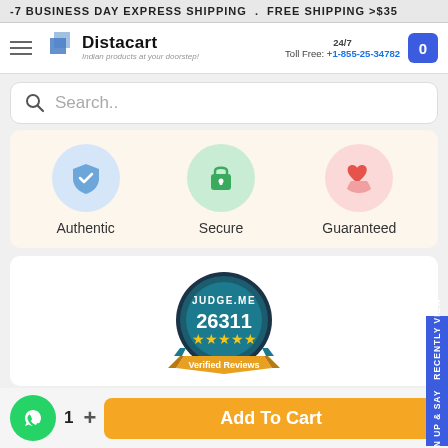-7 BUSINESS DAY EXPRESS SHIPPING . FREE SHIPPING >$35
[Figure (logo): Distacart logo with tagline 'Indian products at your doorstep!']
24/7 Toll Free: +1-855-25-34782
Search..
[Figure (infographic): Three trust badges: Authentic (blue shield check icon), Secure (green lock icon), Guaranteed (pink hand-heart icon)]
[Figure (infographic): Judge.me badge showing 26311 verified reviews with 5 gold stars]
Sign up & say RECENTLY VIEW
1  +  Add To Cart